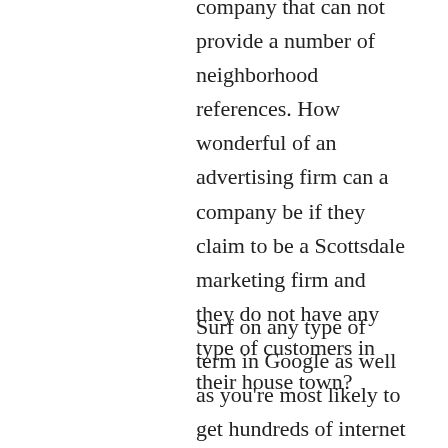company that can not provide a number of neighborhood references. How wonderful of an advertising firm can a company be if they claim to be a Scottsdale marketing firm and they do not have any type of customers in their house town?
Surf on any type of term in Google as well as you're most likely to get hundreds of internet addresses returned to you. And, if you